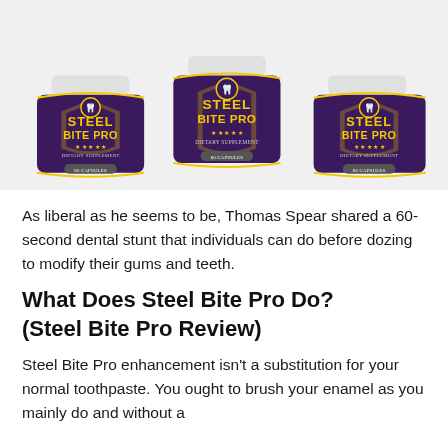[Figure (photo): Three bottles of Steel Bite Pro dietary supplement arranged side by side. Each bottle is white with a dark purple label featuring a gold tooth icon and the text STEEL BITE PRO with stars and 60 CAPSULES at the bottom.]
As liberal as he seems to be, Thomas Spear shared a 60-second dental stunt that individuals can do before dozing to modify their gums and teeth.
What Does Steel Bite Pro Do? (Steel Bite Pro Review)
Steel Bite Pro enhancement isn't a substitution for your normal toothpaste. You ought to brush your enamel as you mainly do and without a